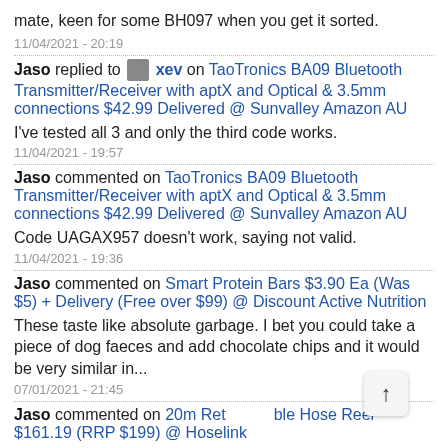mate, keen for some BH097 when you get it sorted.
11/04/2021 - 20:19
Jaso replied to xev on TaoTronics BA09 Bluetooth Transmitter/Receiver with aptX and Optical & 3.5mm connections $42.99 Delivered @ Sunvalley Amazon AU
I've tested all 3 and only the third code works.
11/04/2021 - 19:57
Jaso commented on TaoTronics BA09 Bluetooth Transmitter/Receiver with aptX and Optical & 3.5mm connections $42.99 Delivered @ Sunvalley Amazon AU
Code UAGAX957 doesn't work, saying not valid.
11/04/2021 - 19:36
Jaso commented on Smart Protein Bars $3.90 Ea (Was $5) + Delivery (Free over $99) @ Discount Active Nutrition
These taste like absolute garbage. I bet you could take a piece of dog faeces and add chocolate chips and it would be very similar in...
07/01/2021 - 21:45
Jaso commented on 20m Retractable Hose Reel $161.19 (RRP $199) @ Hoselink